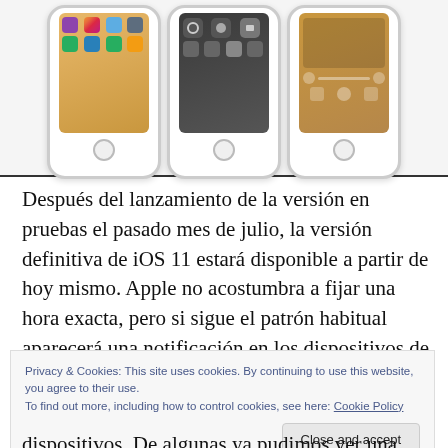[Figure (screenshot): Three iPhone screens showing iOS 11 interface: home screen with app icons, Control Center with toggles, and a music/media control panel. Phones shown from waist up with home buttons.]
Después del lanzamiento de la versión en pruebas el pasado mes de julio, la versión definitiva de iOS 11 estará disponible a partir de hoy mismo. Apple no acostumbra a fijar una hora exacta, pero si sigue el patrón habitual aparecerá una notificación en los dispositivos de los usuarios a partir de las 10 de la mañana en Cupertino y
Privacy & Cookies: This site uses cookies. By continuing to use this website, you agree to their use.
To find out more, including how to control cookies, see here: Cookie Policy
dispositivos. De algunas ya pudimos ver una pequeña